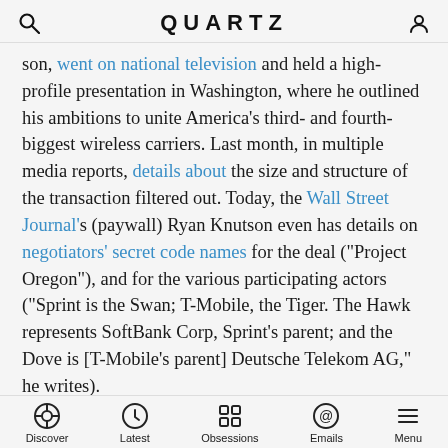QUARTZ
son, went on national television and held a high-profile presentation in Washington, where he outlined his ambitions to unite America’s third- and fourth-biggest wireless carriers. Last month, in multiple media reports, details about the size and structure of the transaction filtered out. Today, the Wall Street Journal’s (paywall) Ryan Knutson even has details on negotiators’ secret code names for the deal (“Project Oregon”), and for the various participating actors (“Sprint is the Swan; T-Mobile, the Tiger. The Hawk represents SoftBank Corp, Sprint’s parent; and the Dove is [T-Mobile’s parent] Deutsche Telekom AG,” he writes).
Yet there was no mention of T-Mobile at all on Sprint’s earnings call this morning. There probably won’t be when T-Mobile (whose colorful CEO John Legere is the
Discover  Latest  Obsessions  Emails  Menu